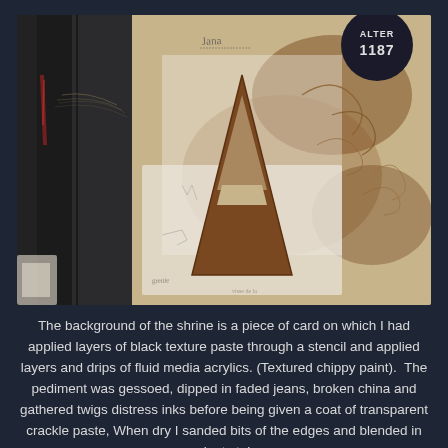[Figure (photo): A mixed-media art shrine photograph showing two panels: the left panel is a dark black textured surface with red accents and fibrous materials; the right panel shows a crackle-painted background with a large decorative letter 'A', handwritten text, flourishes, and a circular dark badge reading 'ALTER 1187' in the upper right corner.]
The background of the shrine is a piece of card on which I had applied layers of black texture paste through a stencil and applied layers and drips of fluid media acrylics. (Textured chippy paint).  The pediment was gessoed, dipped in faded jeans, broken china and gathered twigs distress inks before being given a coat of transparent crackle paste, When dry I sanded bits of the edges and blended in walnut stain.